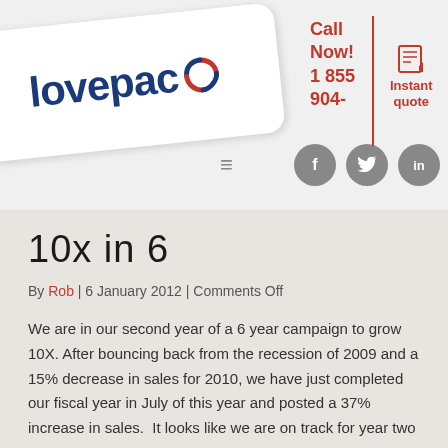[Figure (logo): Lovepac company logo on a white rounded card, rotated slightly, with blue text 'lovepac' and a red/blue circular icon]
Call Now! 1 855 904-
[Figure (illustration): Instant quote icon (document/scroll icon) with text 'Instant quote']
[Figure (illustration): Social media icons: Facebook (f), Twitter (bird), LinkedIn (in) in grey circles, plus hamburger menu icon]
10x in 6
By Rob | 6 January 2012 | Comments Off
We are in our second year of a 6 year campaign to grow 10X. After bouncing back from the recession of 2009 and a 15% decrease in sales for 2010, we have just completed our fiscal year in July of this year and posted a 37% increase in sales. It looks like we are on track for year two